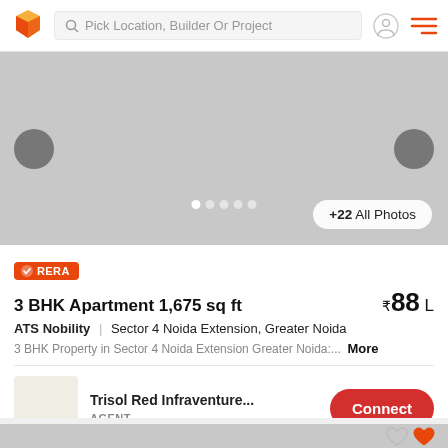Pick Location, Builder Or Project
[Figure (photo): Property image carousel with navigation arrows and photo count button showing +22 All Photos]
RERA
3 BHK Apartment 1,675 sq ft  ₹88 L
ATS Nobility | Sector 4 Noida Extension, Greater Noida
3 BHK Property in Sector 4 Noida Extension Greater Noida:... More
Trisol Red Infraventure...
AGENT
[Figure (photo): Second property listing image (partially visible at bottom), with heart/favorite icons]